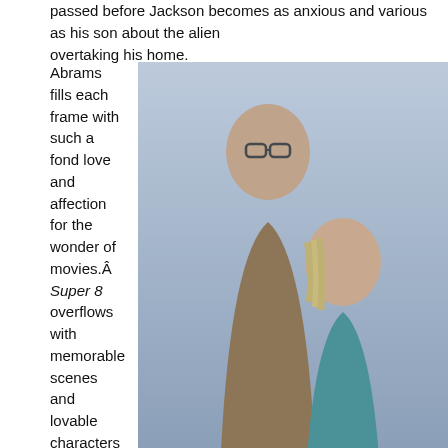passed before Jackson becomes as anxious and various as his son about the alien overtaking his home.
[Figure (photo): A still from the movie Super 8 showing two young actors — a boy with glasses and a girl with blonde hair — with a blue-tinted background.]
Abrams fills each frame with such a fond love and affection for the wonder of movies.Â  Super 8 overflows with memorable scenes and lovable characters that make the mystery and suspense of the plot all the more interesting.Â  Never once did I feel the film's urgency to cut to action and special effects in case things became too plodding.Â  The reality is that Super 8 is edited to near-perfection.Â  The scenes have been constructed tightly and crisply.Â  The tension abounds and the scares thrill.Â  The dialogue never seeks to simply advance the plot, but instead works to penetrate and reveal the characters.Â  A ready sup shines through every frame as each of the young actors carry the movie.
And what about these young actors?Â  They would give most A-list stars a run fo Fanning and Joel Courtney.Â  These two happen to be dynamite actors—convinv consistently on their game.Â  The film offered me a sweet little reminder that chil actors when they are the right actors under the proper direction rather than just c
As a science-fiction mystery, the film couldn't be more entertaining.Â  If one is qu profile director's attempt to simply replicate an idol's bread-and-butter style of film Everyone sits around and complains: "They just don't make them like they used